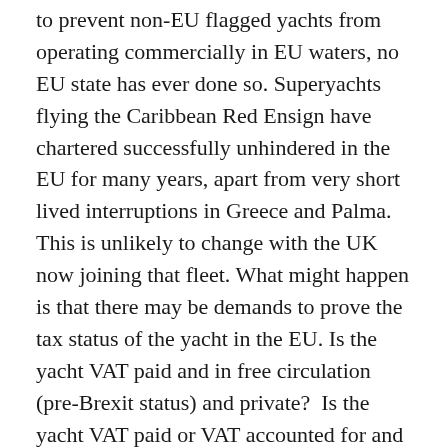to prevent non-EU flagged yachts from operating commercially in EU waters, no EU state has ever done so. Superyachts flying the Caribbean Red Ensign have chartered successfully unhindered in the EU for many years, apart from very short lived interruptions in Greece and Palma. This is unlikely to change with the UK now joining that fleet. What might happen is that there may be demands to prove the tax status of the yacht in the EU. Is the yacht VAT paid and in free circulation (pre-Brexit status) and private?  Is the yacht VAT paid or VAT accounted for and in free-circulation and operating commercially? Or is the yacht in the EU under the temporary importation regime? You need to know the answer and provide proof,